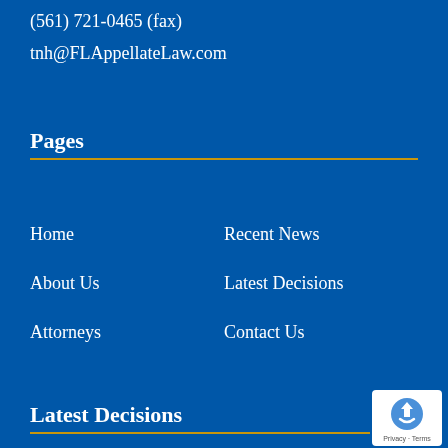(561) 721-0465 (fax)
tnh@FLAppellateLaw.com
Pages
Home
Recent News
About Us
Latest Decisions
Attorneys
Contact Us
Latest Decisions
[Figure (logo): reCAPTCHA logo badge with Privacy and Terms text]